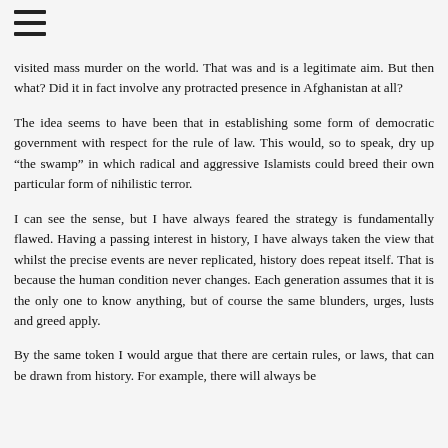[Figure (other): Hamburger menu icon (three horizontal lines)]
visited mass murder on the world. That was and is a legitimate aim. But then what? Did it in fact involve any protracted presence in Afghanistan at all?
The idea seems to have been that in establishing some form of democratic government with respect for the rule of law. This would, so to speak, dry up “the swamp” in which radical and aggressive Islamists could breed their own particular form of nihilistic terror.
I can see the sense, but I have always feared the strategy is fundamentally flawed. Having a passing interest in history, I have always taken the view that whilst the precise events are never replicated, history does repeat itself. That is because the human condition never changes. Each generation assumes that it is the only one to know anything, but of course the same blunders, urges, lusts and greed apply.
By the same token I would argue that there are certain rules, or laws, that can be drawn from history. For example, there will always be